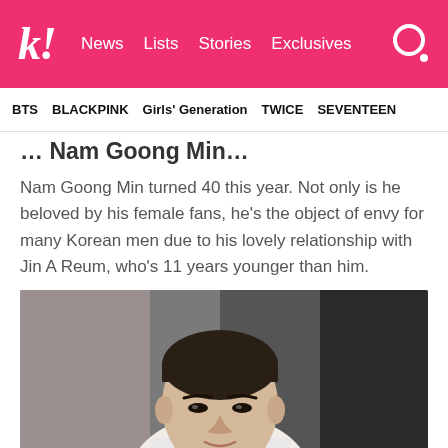k! News Lists Stories Exclusives
BTS BLACKPINK Girls' Generation TWICE SEVENTEEN
…Nam Goong Min…
Nam Goong Min turned 40 this year. Not only is he beloved by his female fans, he's the object of envy for many Korean men due to his lovely relationship with Jin A Reum, who's 11 years younger than him.
[Figure (photo): Portrait photo of Nam Goong Min, a Korean man with dark short hair wearing a white shirt, blurred background]